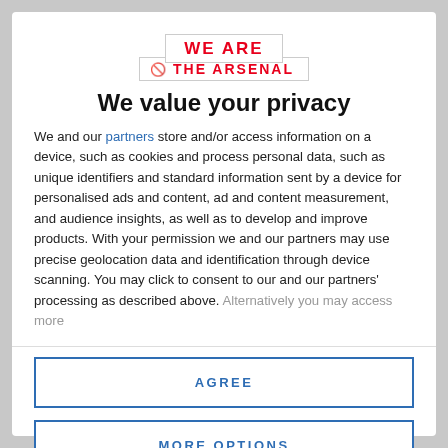[Figure (logo): We Are The Arsenal logo — two overlapping bordered rectangles with red bold text 'WE ARE' on top and 'THE ARSENAL' with a no-entry symbol on the bottom]
We value your privacy
We and our partners store and/or access information on a device, such as cookies and process personal data, such as unique identifiers and standard information sent by a device for personalised ads and content, ad and content measurement, and audience insights, as well as to develop and improve products. With your permission we and our partners may use precise geolocation data and identification through device scanning. You may click to consent to our and our partners' processing as described above. Alternatively you may access more
AGREE
MORE OPTIONS